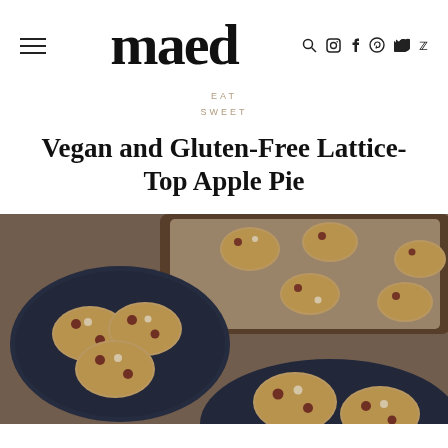maed — navigation header with hamburger menu and social icons (search, instagram, facebook, pinterest, twitter)
EAT SWEET
Vegan and Gluten-Free Lattice-Top Apple Pie
[Figure (photo): Overhead and angled view of baked cookies with cranberries and white chocolate chips on dark blue ceramic plates and a metal baking tray with parchment paper on a brown/taupe surface]